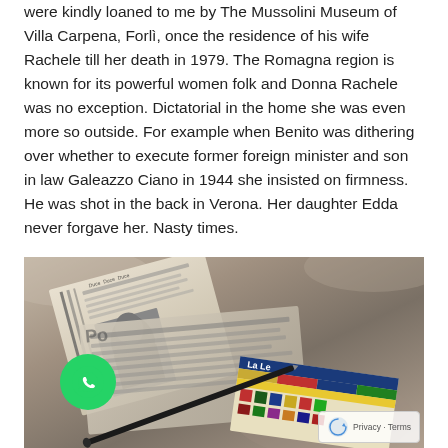were kindly loaned to me by The Mussolini Museum of Villa Carpena, Forlì, once the residence of his wife Rachele till her death in 1979. The Romagna region is known for its powerful women folk and Donna Rachele was no exception. Dictatorial in the home she was even more so outside. For example when Benito was dithering over whether to execute former foreign minister and son in law Galeazzo Ciano in 1944 she insisted on firmness. He was shot in the back in Verona. Her daughter Edda never forgave her. Nasty times.
[Figure (photo): A sepia-toned photograph showing historical documents, newspapers with Italian text including 'Duce', a black pen, and colorful printed materials on a draped fabric background. A WhatsApp chat button and reCAPTCHA Privacy-Terms overlay are visible.]